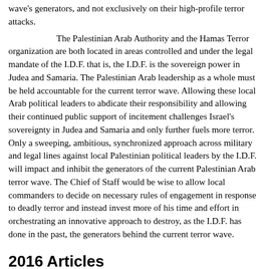wave's generators, and not exclusively on their high-profile terror attacks.

The Palestinian Arab Authority and the Hamas Terror organization are both located in areas controlled and under the legal mandate of the I.D.F. that is, the I.D.F. is the sovereign power in Judea and Samaria. The Palestinian Arab leadership as a whole must be held accountable for the current terror wave. Allowing these local Arab political leaders to abdicate their responsibility and allowing their continued public support of incitement challenges Israel's sovereignty in Judea and Samaria and only further fuels more terror. Only a sweeping, ambitious, synchronized approach across military and legal lines against local Palestinian political leaders by the I.D.F. will impact and inhibit the generators of the current Palestinian Arab terror wave. The Chief of Staff would be wise to allow local commanders to decide on necessary rules of engagement in response to deadly terror and instead invest more of his time and effort in orchestrating an innovative approach to destroy, as the I.D.F. has done in the past, the generators behind the current terror wave.
2016 Articles
The Palestinian's willing executioners
Obama's latest “Useful Idiot” –
Ambassador Dan Shapiro